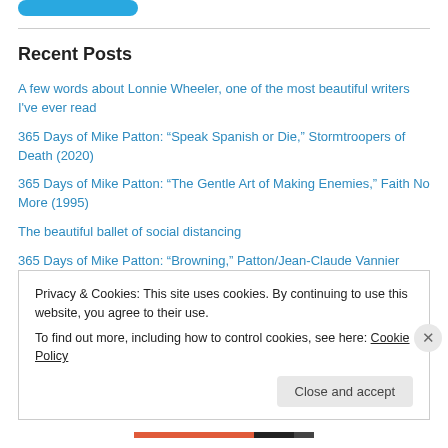Recent Posts
A few words about Lonnie Wheeler, one of the most beautiful writers I've ever read
365 Days of Mike Patton: “Speak Spanish or Die,” Stormtroopers of Death (2020)
365 Days of Mike Patton: “The Gentle Art of Making Enemies,” Faith No More (1995)
The beautiful ballet of social distancing
365 Days of Mike Patton: “Browning,” Patton/Jean-Claude Vannier (2019)
Privacy & Cookies: This site uses cookies. By continuing to use this website, you agree to their use.
To find out more, including how to control cookies, see here: Cookie Policy
Close and accept